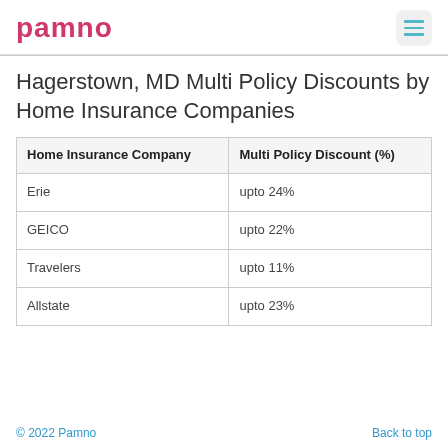pamno
Hagerstown, MD Multi Policy Discounts by Home Insurance Companies
| Home Insurance Company | Multi Policy Discount (%) |
| --- | --- |
| Erie | upto 24% |
| GEICO | upto 22% |
| Travelers | upto 11% |
| Allstate | upto 23% |
© 2022 Pamno    Back to top